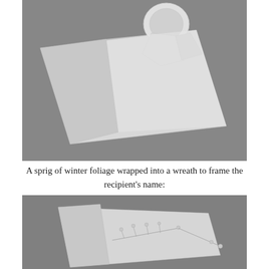[Figure (photo): Black and white photograph of a white gift-wrapped package with a paper bow/wreath decoration on a grey background, shot from above.]
A sprig of winter foliage wrapped into a wreath to frame the recipient's name:
[Figure (photo): Black and white photograph of a white gift-wrapped package with a delicate sprig of winter foliage arranged into a wreath on top, on a grey background.]